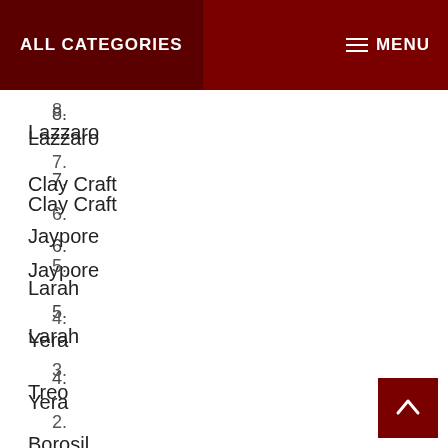ALL CATEGORIES   MENU
8.
Lazzaro
7.
Clay Craft
6.
Jaypore
5.
Larah
4.
Yera
3.
Treo
2.
Borosil
1.
La Oph...